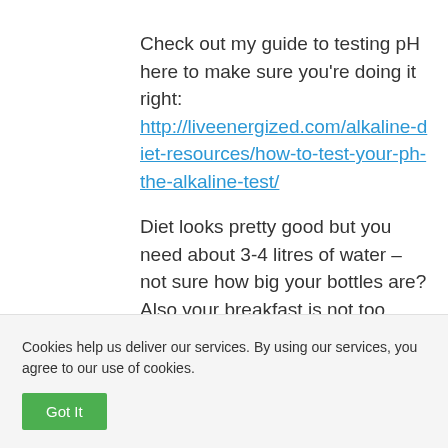Check out my guide to testing pH here to make sure you're doing it right: http://liveenergized.com/alkaline-diet-resources/how-to-test-your-ph-the-alkaline-test/
Diet looks pretty good but you need about 3-4 litres of water – not sure how big your bottles are? Also your breakfast is not too alkaline forming
Cookies help us deliver our services. By using our services, you agree to our use of cookies.